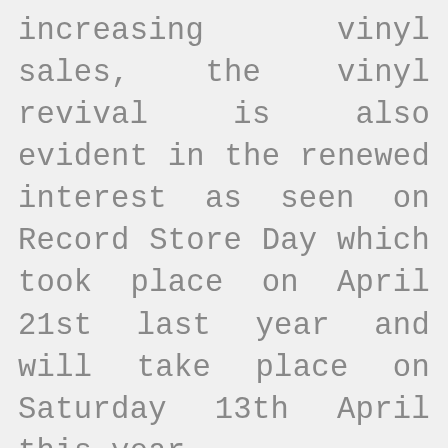increasing vinyl sales, the vinyl revival is also evident in the renewed interest as seen on Record Store Day which took place on April 21st last year and will take place on Saturday 13th April this year. Though many sales in vinyl are of modern artists with modern styles or genres of music, the revival has sometimes been considered to be a part of the greater revival of retro style since many vinyl buyers are too